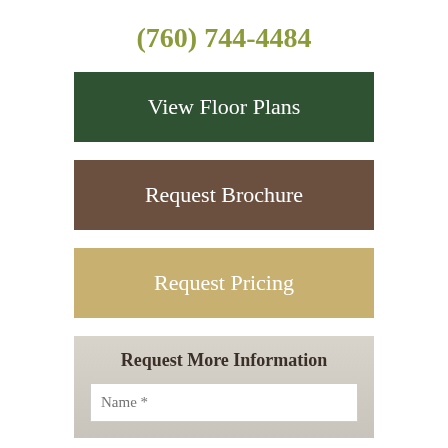(760) 744-4484
View Floor Plans
Request Brochure
Request Pricing
Request More Information
Name *